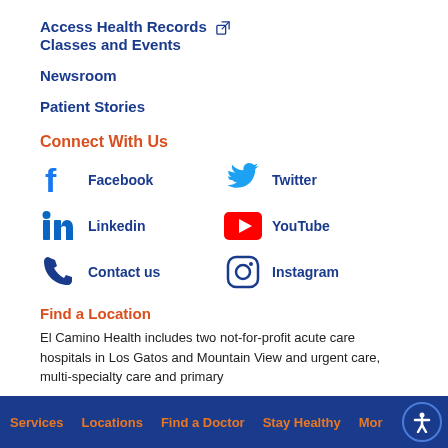Access Health Records ↗
Classes and Events
Newsroom
Patient Stories
Connect With Us
Facebook
Twitter
Linkedin
YouTube
Contact us
Instagram
Find a Location
El Camino Health includes two not-for-profit acute care hospitals in Los Gatos and Mountain View and urgent care, multi-specialty care and primary
Services   Locations   Find a Doctor   Stay Healthy   Mor…